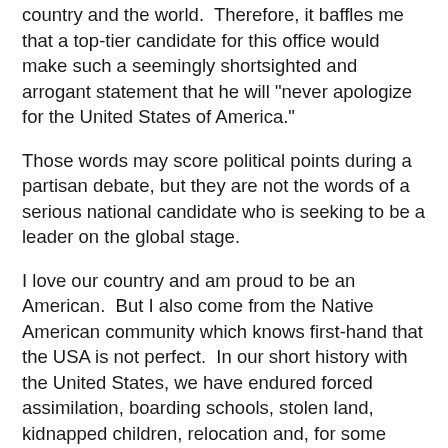country and the world.  Therefore, it baffles me that a top-tier candidate for this office would make such a seemingly shortsighted and arrogant statement that he will "never apologize for the United States of America."
Those words may score political points during a partisan debate, but they are not the words of a serious national candidate who is seeking to be a leader on the global stage.
I love our country and am proud to be an American.  But I also come from the Native American community which knows first-hand that the USA is not perfect.  In our short history with the United States, we have endured forced assimilation, boarding schools, stolen land, kidnapped children, relocation and, for some tribes, genocide.  Yet, there are still a great number of us who are willing to work through that dark history and strive to live proud and productive lives as citizens of this country.  But we, and our communities, are still hurting.  We crave reconciliation and are longing to restore this important relationship that has been broken by our country.  And one would expect that at some point in the healing process, an apology would be